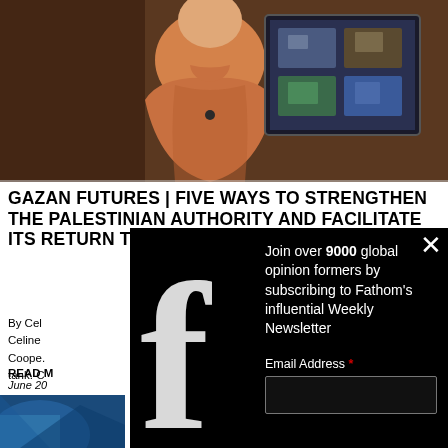[Figure (photo): Video screenshot of a person in a brown/orange top in a studio setting, with a monitor visible in the background showing thumbnails]
GAZAN FUTURES | FIVE WAYS TO STRENGTHEN THE PALESTINIAN AUTHORITY AND FACILITATE ITS RETURN TO GAZA
By Cel... Celine... Coope... tank. C...
READ M... June 20...
[Figure (infographic): Facebook newsletter signup popup overlay on black background with large Facebook 'f' logo. Text reads: Join over 9000 global opinion formers by subscribing to Fathom's influential Weekly Newsletter. Email Address field shown.]
[Figure (photo): Partial thumbnail image at bottom left, blue toned]